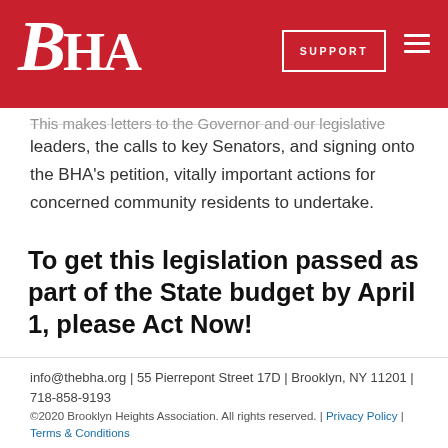BHA — SUPPORT
This makes letters to the Governor and our legislative leaders, the calls to key Senators, and signing onto the BHA's petition, vitally important actions for concerned community residents to undertake.
To get this legislation passed as part of the State budget by April 1, please Act Now!
info@thebha.org | 55 Pierrepont Street 17D | Brooklyn, NY 11201 | 718-858-9193
©2020 Brooklyn Heights Association. All rights reserved. | Privacy Policy | Terms & Conditions